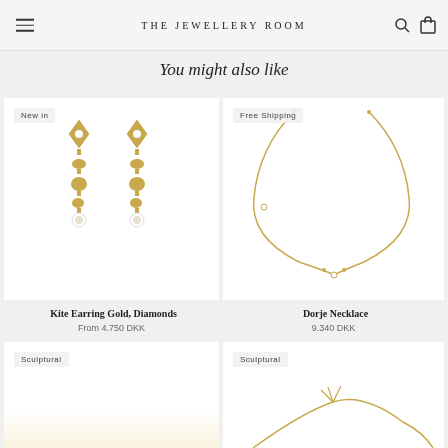THE JEWELLERY ROOM
You might also like
[Figure (photo): Kite Earring Gold with Diamonds – two gold kite-shaped drop earrings with diamond accents. Badge: New in.]
Kite Earring Gold, Diamonds
From 4.750 DKK
[Figure (photo): Dorje Necklace – a delicate gold chain necklace with small diamond accents. Badge: Free Shipping.]
Dorje Necklace
9.340 DKK
[Figure (photo): Partially visible product image – Badge: Sculptural.]
[Figure (photo): Partially visible product image with gold wire jewelry – Badge: Sculptural.]